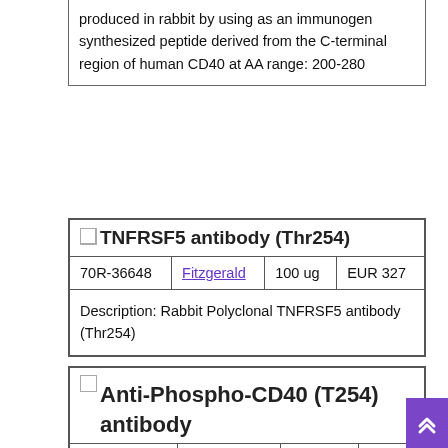produced in rabbit by using as an immunogen synthesized peptide derived from the C-terminal region of human CD40 at AA range: 200-280
| TNFRSF5 antibody (Thr254) |  |  |  |
| --- | --- | --- | --- |
| 70R-36648 | Fitzgerald | 100 ug | EUR 327 |
| Description: Rabbit Polyclonal TNFRSF5 antibody (Thr254) |  |  |  |
| Anti-Phospho-CD40 (T254) antibody |  |  |  |
| --- | --- | --- | --- |
| STI90539 | St John's | 200 ul | EUR |